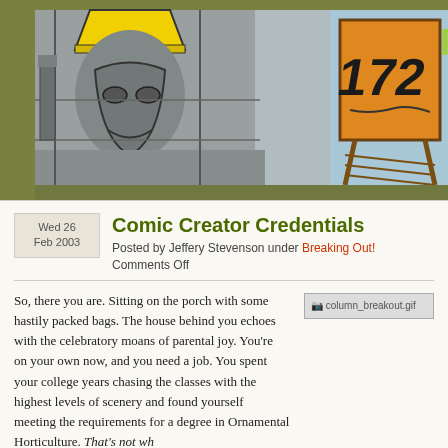[Figure (illustration): Comic/cartoon banner image showing stylized illustrated characters with yellow hard hat, graffiti-style orange sign with numbers, blue and grey tones, industrial setting. Partial 'F' letter visible at top right.]
Comic Creator Credentials
Posted by Jeffery Stevenson under Breaking Out!
Comments Off
So, there you are. Sitting on the porch with some hastily packed bags. The house behind you echoes with the celebratory moans of parental joy. You're on your own now, and you need a job. You spent your college years chasing the classes with the highest levels of scenery and found yourself meeting the requirements for a degree in Ornamental Horticulture. That's not wh for a living. A fierce determination suddenly hits you. I want to build roller coaster
[Figure (photo): Small image placeholder labeled column_breakout.gif]
You head straight for the best in the business to get that job. You've got a degree mastered both Roller Coaster Tycoon and Roller Coaster Tycoon 2, and you're n